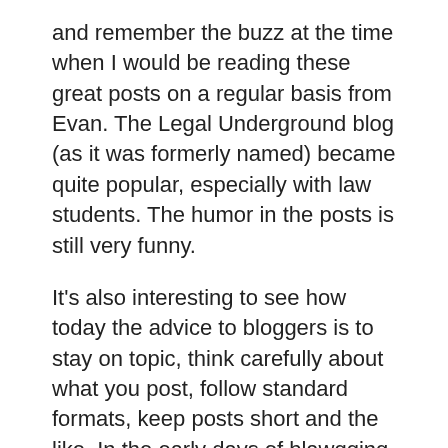and remember the buzz at the time when I would be reading these great posts on a regular basis from Evan. The Legal Underground blog (as it was formerly named) became quite popular, especially with law students. The humor in the posts is still very funny.
It's also interesting to see how today the advice to bloggers is to stay on topic, think carefully about what you post, follow standard formats, keep posts short and the like. In the early days of blawgging, those rules definitely did not exist. Yet, blawgs became quite popular even though they broke all of today's rules. Something to think about, no? You definitely have to check out Evan's blog. And he's another St. Louis blawgger.